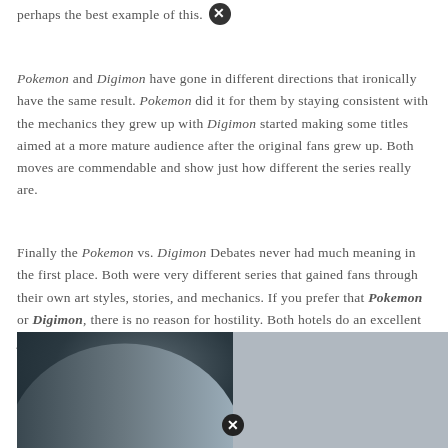perhaps the best example of this.
Pokemon and Digimon have gone in different directions that ironically have the same result. Pokemon did it for them by staying consistent with the mechanics they grew up with Digimon started making some titles aimed at a more mature audience after the original fans grew up. Both moves are commendable and show just how different the series really are.
Finally the Pokemon vs. Digimon Debates never had much meaning in the first place. Both were very different series that gained fans through their own art styles, stories, and mechanics. If you prefer that Pokemon or Digimon, there is no reason for hostility. Both hotels do an excellent job of keeping their fans happy.
[Figure (photo): A blurred photo of a person from the side/back, black and white tones, with a bright background on the right side. A close button icon appears at the bottom center.]